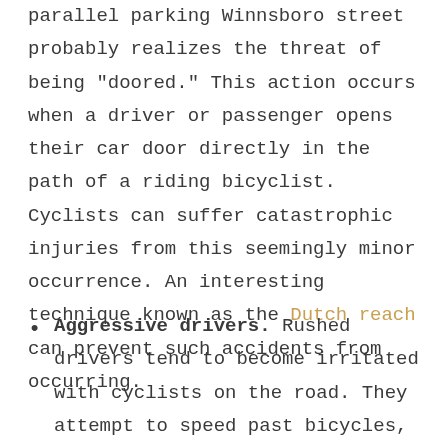parallel parking Winnsboro street probably realizes the threat of being "doored." This action occurs when a driver or passenger opens their car door directly in the path of a riding bicyclist. Cyclists can suffer catastrophic injuries from this seemingly minor occurrence. An interesting technique known as the Dutch reach can prevent such accidents from occurring.
Aggressive drivers. Rushed drivers tend to become irritated with cyclists on the road. They attempt to speed past bicycles, holler at